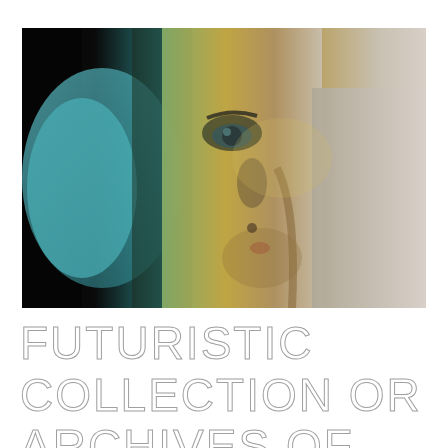[Figure (photo): Close-up abstract photograph of a person's face in profile, showing an eye and facial features with a teal/cyan coloured shape on the left and warm yellow-green tones across the face. The image is blurred and artistic in style.]
FUTURISTIC COLLECTION OR ARCHIVES OF THE PRESENT